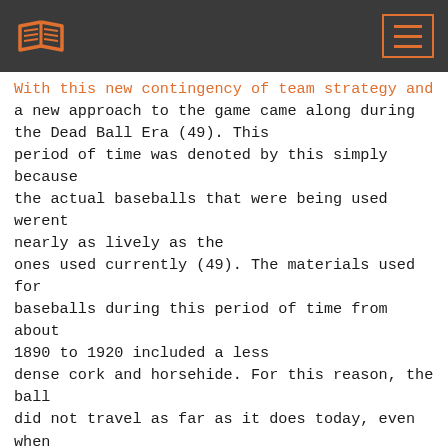[book logo] [menu button]
With this new contingency of team strategy and a new approach to the game came along during the Dead Ball Era (49). This period of time was denoted by this simply because the actual baseballs that were being used werent nearly as lively as the ones used currently (49). The materials used for baseballs during this period of time from about 1890 to 1920 included a less dense cork and horsehide. For this reason, the ball did not travel as far as it does today, even when perfect contact is made between the bat and ball. The batter philosophy during that time consisted of hitting the ball where other people werent, in the field, that is. An indication of this is shown by the batting leader of this era, Wee Willie Keeler, stated,"I hit em where they